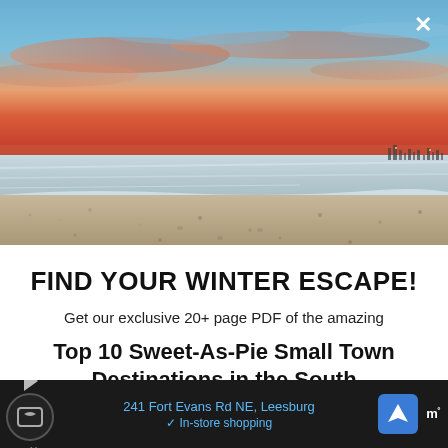[Figure (photo): Beach at sunset/sunrise with colorful orange and blue sky, calm water with gentle waves, sandy beach with footprints, city skyline visible in far right background]
FIND YOUR WINTER ESCAPE!
Get our exclusive 20+ page PDF of the amazing
Top 10 Sweet-As-Pie Small Town Destinations in the South
[Figure (screenshot): Mobile ad bar at bottom: dark background with Google Maps-style ad showing '241 Fort Evans Rd NE, Leesburg' in blue text, circular logo icon, navigation arrow icon, and Waze logo on right]